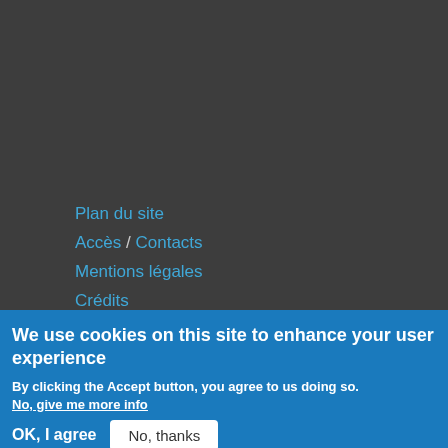Plan du site
Accès / Contacts
Mentions légales
Crédits
We use cookies on this site to enhance your user experience
By clicking the Accept button, you agree to us doing so.
No, give me more info
OK, I agree
No, thanks